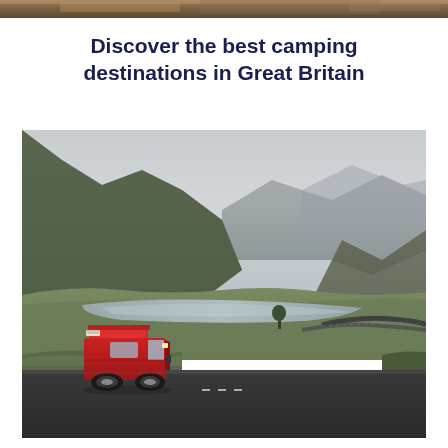[Figure (photo): Cropped top strip of an outdoor/nature scene, likely another camping-related photo]
Discover the best camping destinations in Great Britain
[Figure (photo): A red VW campervan with pop-up roof parked on a road in a dramatic Scottish Highland landscape, with mountains, a loch, and misty skies in the background. Winding road curves around the water.]